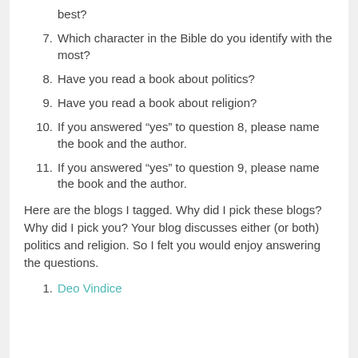best?
7. Which character in the Bible do you identify with the most?
8. Have you read a book about politics?
9. Have you read a book about religion?
10. If you answered “yes” to question 8, please name the book and the author.
11. If you answered “yes” to question 9, please name the book and the author.
Here are the blogs I tagged. Why did I pick these blogs? Why did I pick you? Your blog discusses either (or both) politics and religion. So I felt you would enjoy answering the questions.
1. Deo Vindice